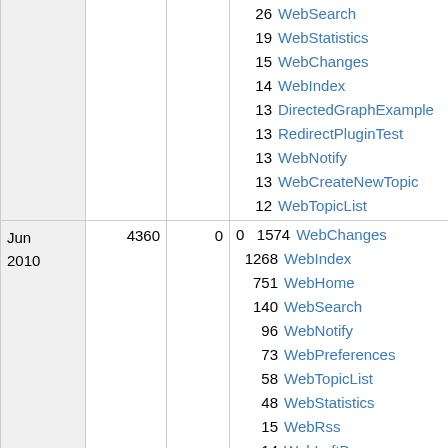| Date | Views | Saves | Contrib | Top Pages |
| --- | --- | --- | --- | --- |
|  |  |  | 26 | WebSearch |
|  |  |  | 19 | WebStatistics |
|  |  |  | 15 | WebChanges |
|  |  |  | 14 | WebIndex |
|  |  |  | 13 | DirectedGraphExample |
|  |  |  | 13 | RedirectPluginTest |
|  |  |  | 13 | WebNotify |
|  |  |  | 13 | WebCreateNewTopic |
|  |  |  | 12 | WebTopicList |
| Jun 2010 | 4360 | 0 | 0 | 1574 WebChanges |
|  |  |  |  | 1268 WebIndex |
|  |  |  |  | 751 WebHome |
|  |  |  |  | 140 WebSearch |
|  |  |  |  | 96 WebNotify |
|  |  |  |  | 73 WebPreferences |
|  |  |  |  | 58 WebTopicList |
|  |  |  |  | 48 WebStatistics |
|  |  |  |  | 15 WebRss |
|  |  |  |  | 14 WebLeftBar |
|  |  |  |  | 9 WebSearchAdvanced |